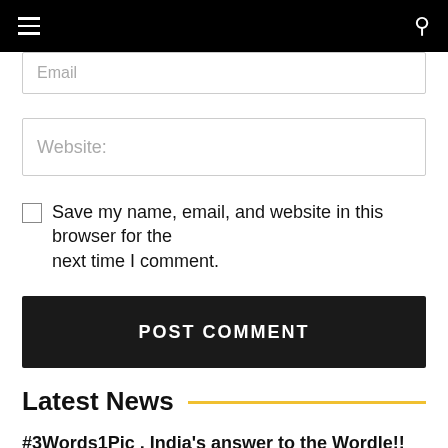Navigation bar with hamburger menu and search icon
Email
Website:
Save my name, email, and website in this browser for the next time I comment.
POST COMMENT
Latest News
#3Words1Pic , India's answer to the Wordle!!
Mahishili...